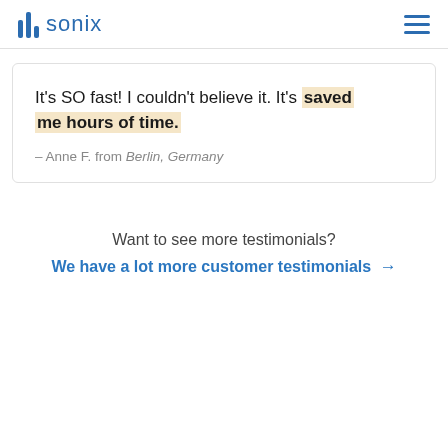sonix
It's SO fast! I couldn't believe it. It's saved me hours of time.
— Anne F. from Berlin, Germany
Want to see more testimonials?
We have a lot more customer testimonials →